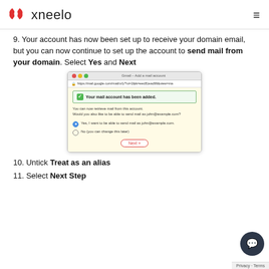xneelo
9. Your account has now been set up to receive your domain email, but you can now continue to set up the account to send mail from your domain. Select Yes and Next
[Figure (screenshot): Gmail - Add a mail account browser screenshot showing 'Your mail account has been added.' confirmation with option to send mail as john@example.com and a Next button]
10. Untick Treat as an alias
11. Select Next Step